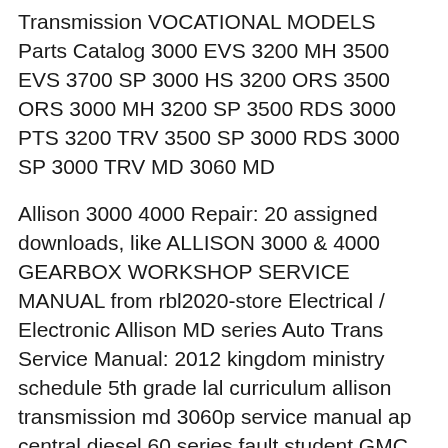Transmission VOCATIONAL MODELS Parts Catalog 3000 EVS 3200 MH 3500 EVS 3700 SP 3000 HS 3200 ORS 3500 ORS 3000 MH 3200 SP 3500 RDS 3000 PTS 3200 TRV 3500 SP 3000 RDS 3000 SP 3000 TRV MD 3060 MD
Allison 3000 4000 Repair: 20 assigned downloads, like ALLISON 3000 & 4000 GEARBOX WORKSHOP SERVICE MANUAL from rbl2020-store Electrical / Electronic Allison MD series Auto Trans Service Manual: 2012 kingdom ministry schedule 5th grade lal curriculum allison transmission md 3060p service manual ap central diesel 60 series fault student GMC, Geo Search by Transmission Model Allison MD 3000